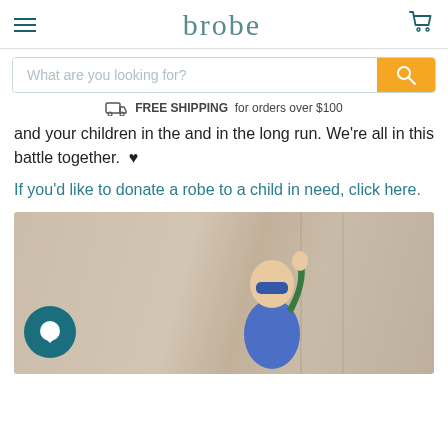brobe
What are you looking for?
FREE SHIPPING for orders over $100
and your children in the and in the long run. We're all in this battle together.  ♥
If you'd like to donate a robe to a child in need, click here.
[Figure (photo): A young child dressed as a superhero with a blue mask and cape, arm raised upward, standing against a linen curtain backdrop. A chat bubble icon is visible in the lower left corner.]